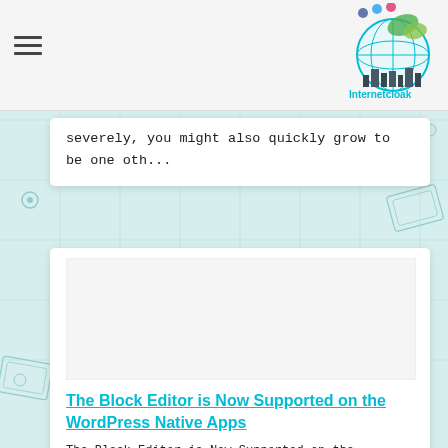Internetcloak website header with hamburger menu and logo
severely, you might also quickly grow to be one oth...
[Figure (illustration): Blank/white image placeholder area inside article card]
The Block Editor is Now Supported on the WordPress Native Apps
The Block Editor is Now Supported on the WordPress Native Apps The block editor permits for a smoother